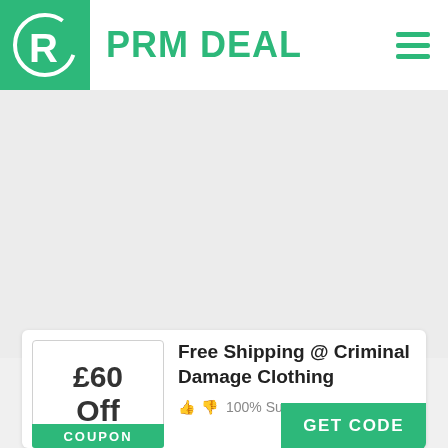[Figure (logo): PRM Deal logo: green square with stylized R in circle, followed by 'PRM DEAL' text in green, hamburger menu icon on right]
[Figure (other): Light gray placeholder/ad area]
£60 Off
Free Shipping @ Criminal Damage Clothing
100% Success
COUPON
GET CODE